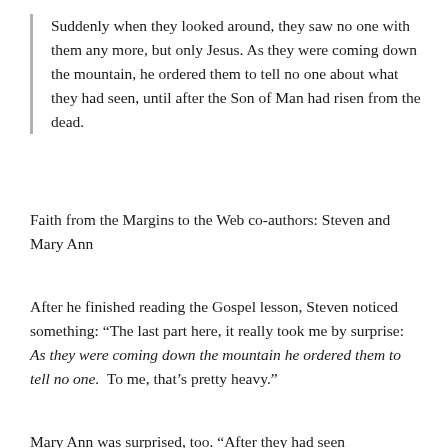Suddenly when they looked around, they saw no one with them any more, but only Jesus. As they were coming down the mountain, he ordered them to tell no one about what they had seen, until after the Son of Man had risen from the dead.
Faith from the Margins to the Web co-authors: Steven and Mary Ann
After he finished reading the Gospel lesson, Steven noticed something: “The last part here, it really took me by surprise: As they were coming down the mountain he ordered them to tell no one. To me, that’s pretty heavy.”
Mary Ann was surprised, too. “After they had seen